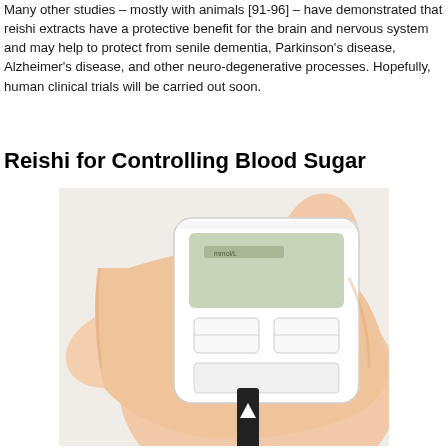Many other studies – mostly with animals [91-96] – have demonstrated that reishi extracts have a protective benefit for the brain and nervous system and may help to protect from senile dementia, Parkinson's disease, Alzheimer's disease, and other neuro-degenerative processes. Hopefully, human clinical trials will be carried out soon.
Reishi for Controlling Blood Sugar
[Figure (photo): A hand holding a white blood glucose meter with a black test strip inserted at the bottom, pointing toward a fingertip. The device has a digital display screen at the top.]